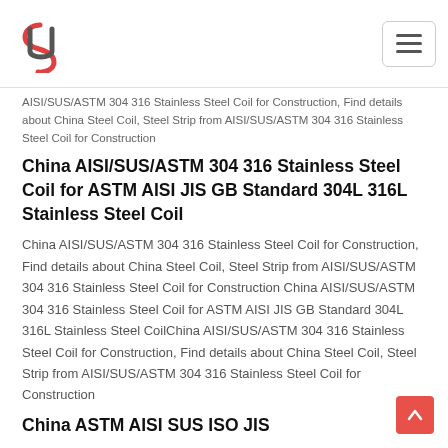Logo and navigation header
AISI/SUS/ASTM 304 316 Stainless Steel Coil for Construction, Find details about China Steel Coil, Steel Strip from AISI/SUS/ASTM 304 316 Stainless Steel Coil for Construction
China AISI/SUS/ASTM 304 316 Stainless Steel Coil for ASTM AISI JIS GB Standard 304L 316L Stainless Steel Coil
China AISI/SUS/ASTM 304 316 Stainless Steel Coil for Construction, Find details about China Steel Coil, Steel Strip from AISI/SUS/ASTM 304 316 Stainless Steel Coil for Construction China AISI/SUS/ASTM 304 316 Stainless Steel Coil for ASTM AISI JIS GB Standard 304L 316L Stainless Steel CoilChina AISI/SUS/ASTM 304 316 Stainless Steel Coil for Construction, Find details about China Steel Coil, Steel Strip from AISI/SUS/ASTM 304 316 Stainless Steel Coil for Construction
China ASTM AISI SUS ISO JIS